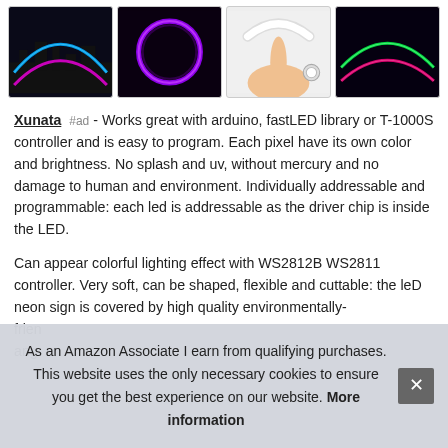[Figure (photo): Row of four product thumbnail images showing LED neon strip lights in various colors and configurations]
Xunata #ad - Works great with arduino, fastLED library or T-1000S controller and is easy to program. Each pixel have its own color and brightness. No splash and uv, without mercury and no damage to human and environment. Individually addressable and programmable: each led is addressable as the driver chip is inside the LED.
Can appear colorful lighting effect with WS2812B WS2811 controller. Very soft, can be shaped, flexible and cuttable: the leD neon sign is covered by high quality environmentally-friendly... ang...
As an Amazon Associate I earn from qualifying purchases. This website uses the only necessary cookies to ensure you get the best experience on our website. More information